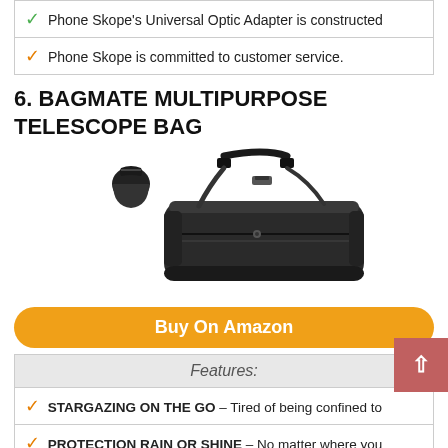✓ Phone Skope's Universal Optic Adapter is constructed
✓ Phone Skope is committed to customer service.
6. BAGMATE MULTIPURPOSE TELESCOPE BAG
[Figure (photo): A black multipurpose telescope bag with a carry handle and strap, shown with a small black pouch accessory]
Buy On Amazon
Features:
✓ STARGAZING ON THE GO – Tired of being confined to
✓ PROTECTION RAIN OR SHINE – No matter where you